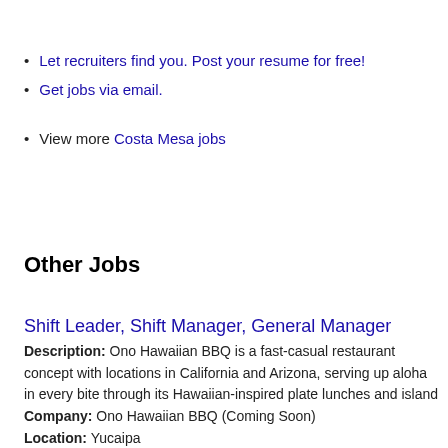Let recruiters find you. Post your resume for free!
Get jobs via email.
View more Costa Mesa jobs
Other Jobs
Shift Leader, Shift Manager, General Manager
Description: Ono Hawaiian BBQ is a fast-casual restaurant concept with locations in California and Arizona, serving up aloha in every bite through its Hawaiian-inspired plate lunches and island
Company: Ono Hawaiian BBQ (Coming Soon)
Location: Yucaipa
Posted on: 08/23/2022